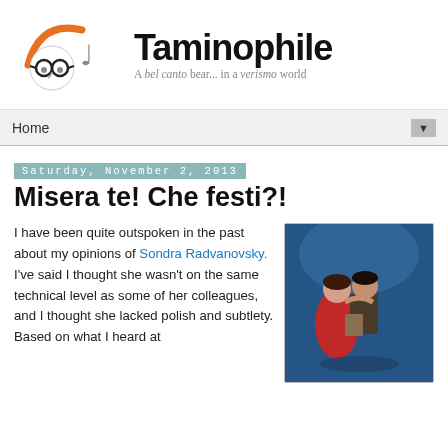[Figure (logo): Taminophile blog logo: cartoon face with glasses and orange hair arc, with musical note, beside bold text 'Taminophile' and subtitle 'A bel canto bear... in a verismo world']
Home ▼
Saturday, November 2, 2013
Misera te! Che festi?!
I have been quite outspoken in the past about my opinions of Sondra Radvanovsky. I've said I thought she wasn't on the same technical level as some of her colleagues, and I thought she lacked polish and subtlety. Based on what I heard at
[Figure (photo): Opera performance photo: woman in red dress and man in period costume embracing, blue stage lighting background]